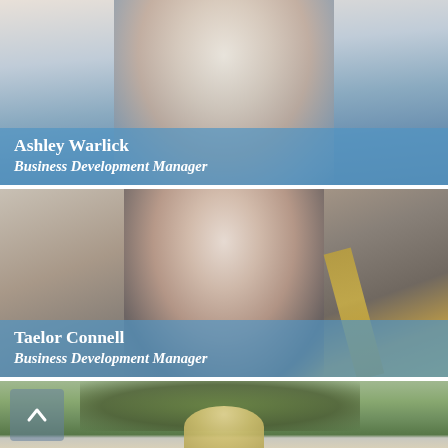[Figure (photo): Professional headshot of Ashley Warlick, a blonde woman smiling, wearing a blue outfit against a light background]
Ashley Warlick
Business Development Manager
[Figure (photo): Professional headshot of Taelor Connell, a dark-haired woman smiling, wearing a black jacket against a textured metallic background with gold accents]
Taelor Connell
Business Development Manager
[Figure (photo): Partial photo of a third person, a blonde woman outdoors with green bushes visible, partially cut off at the bottom of the page. A scroll-up navigation button is visible in the lower left.]